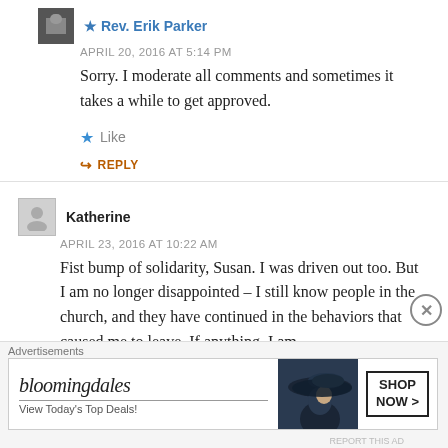APRIL 20, 2016 AT 5:14 PM
Sorry. I moderate all comments and sometimes it takes a while to get approved.
Like
REPLY
Katherine
APRIL 23, 2016 AT 10:22 AM
Fist bump of solidarity, Susan. I was driven out too. But I am no longer disappointed – I still know people in the church, and they have continued in the behaviors that caused me to leave. If anything, I am
Advertisements
[Figure (other): Bloomingdale's banner advertisement: 'View Today's Top Deals!' with 'SHOP NOW >' button and woman in hat graphic]